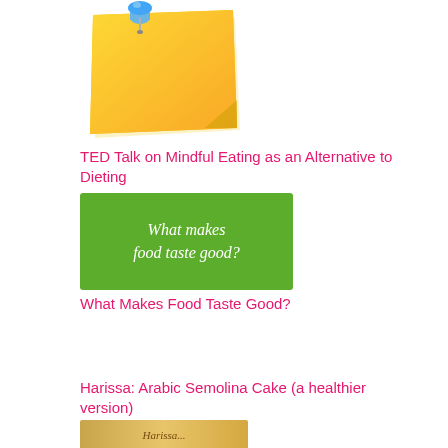[Figure (illustration): Yellow sticky note with a blue pushpin/thumbtack on top left corner]
TED Talk on Mindful Eating as an Alternative to Dieting
[Figure (illustration): Green image with white italic text reading 'What makes food taste good?']
What Makes Food Taste Good?
Harissa: Arabic Semolina Cake (a healthier version)
[Figure (photo): Partial photo of Harissa cake, warm golden tones]